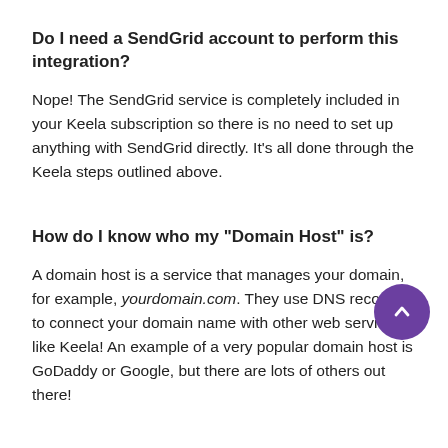Do I need a SendGrid account to perform this integration?
Nope! The SendGrid service is completely included in your Keela subscription so there is no need to set up anything with SendGrid directly. It's all done through the Keela steps outlined above.
How do I know who my "Domain Host" is?
A domain host is a service that manages your domain, for example, yourdomain.com. They use DNS records to connect your domain name with other web services, like Keela! An example of a very popular domain host is GoDaddy or Google, but there are lots of others out there!